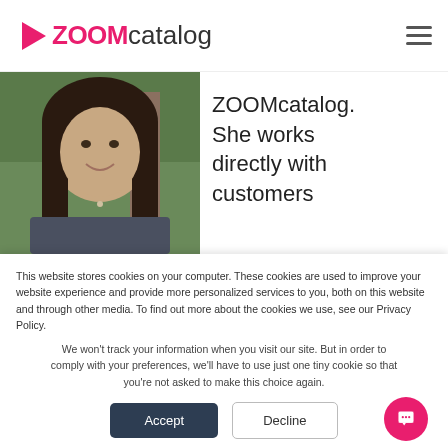ZOOMcatalog
[Figure (photo): Profile photo of a woman with long dark hair, smiling, standing outdoors near a tree]
ZOOMcatalog. She works directly with customers
This website stores cookies on your computer. These cookies are used to improve your website experience and provide more personalized services to you, both on this website and through other media. To find out more about the cookies we use, see our Privacy Policy.
We won't track your information when you visit our site. But in order to comply with your preferences, we'll have to use just one tiny cookie so that you're not asked to make this choice again.